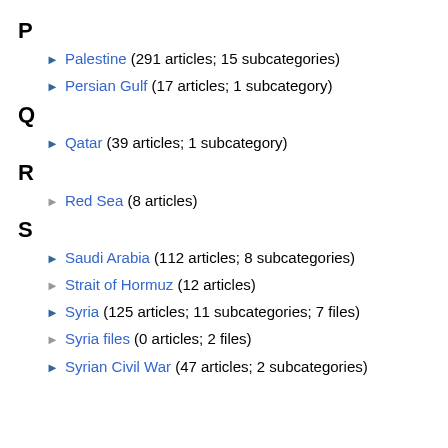P
Palestine (291 articles; 15 subcategories)
Persian Gulf (17 articles; 1 subcategory)
Q
Qatar (39 articles; 1 subcategory)
R
Red Sea (8 articles)
S
Saudi Arabia (112 articles; 8 subcategories)
Strait of Hormuz (12 articles)
Syria (125 articles; 11 subcategories; 7 files)
Syria files (0 articles; 2 files)
Syrian Civil War (47 articles; 2 subcategories)